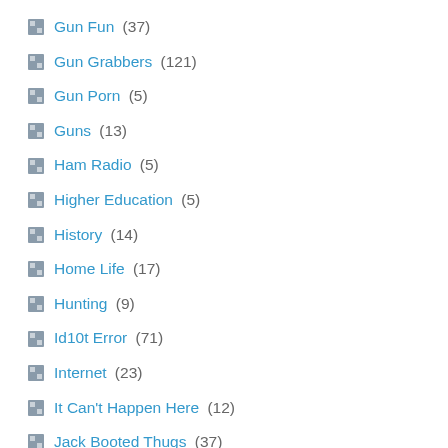Gun Fun (37)
Gun Grabbers (121)
Gun Porn (5)
Guns (13)
Ham Radio (5)
Higher Education (5)
History (14)
Home Life (17)
Hunting (9)
Id10t Error (71)
Internet (23)
It Can't Happen Here (12)
Jack Booted Thugs (37)